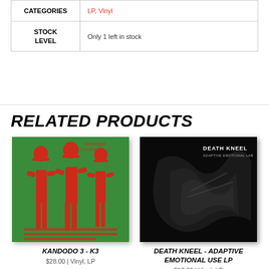|  |  |
| --- | --- |
| CATEGORIES | LP, Vinyl |
| STOCK LEVEL | Only 1 left in stock |
RELATED PRODUCTS
[Figure (photo): Kandodo 3 - K3 album cover: green background with red illustrated figures of three people]
KANDODO 3 - K3
$28.00 | Vinyl, LP
[Figure (photo): Death Kneel - Adaptive Emotional Use LP album cover: dark/black background with abstract figure imagery, white text reading DEATH KNEEL ADAPTIVE EMOTIONAL LAB]
DEATH KNEEL - ADAPTIVE EMOTIONAL USE LP
$17.00 | Vinyl, LP